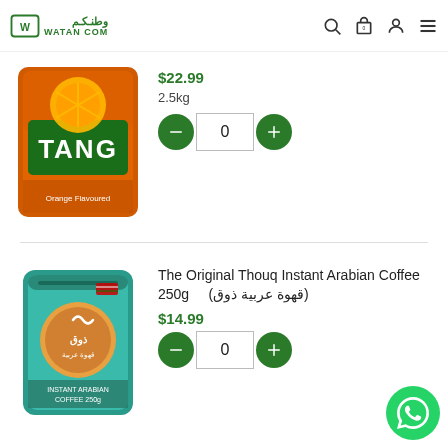WATAN.COM
$22.99
2.5kg
0
[Figure (photo): Tang orange drink powder bag, orange packaging with orange fruit image and Tang logo]
The Original Thouq Instant Arabian Coffee 250g (قهوة عربية ذوق)
$14.99
0
[Figure (photo): Thouq Instant Arabian Coffee 250g, teal/turquoise pouch with Arabic branding]